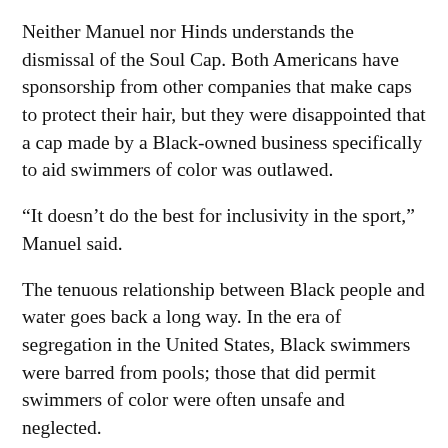Neither Manuel nor Hinds understands the dismissal of the Soul Cap. Both Americans have sponsorship from other companies that make caps to protect their hair, but they were disappointed that a cap made by a Black-owned business specifically to aid swimmers of color was outlawed.
“It doesn’t do the best for inclusivity in the sport,” Manuel said.
The tenuous relationship between Black people and water goes back a long way. In the era of segregation in the United States, Black swimmers were barred from pools; those that did permit swimmers of color were often unsafe and neglected.
“The predominance of white athletes in swimming is a key example of a racial disparity in sport that can be linked to histories of institutional racism,” said Claire Sisco King, an associate professor of communication studies at Vanderbilt